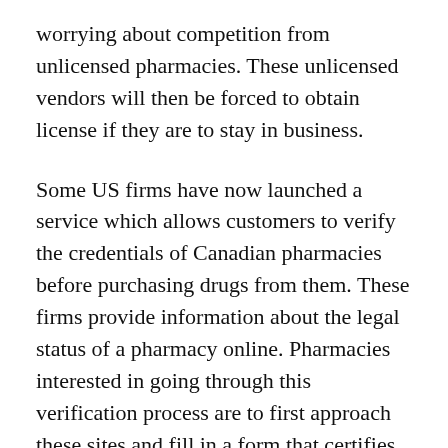worrying about competition from unlicensed pharmacies. These unlicensed vendors will then be forced to obtain license if they are to stay in business.
Some US firms have now launched a service which allows customers to verify the credentials of Canadian pharmacies before purchasing drugs from them. These firms provide information about the legal status of a pharmacy online. Pharmacies interested in going through this verification process are to first approach these sites and fill in a form that certifies that they are operating within the framework of laws of applicable jurisdictional laws. These pharmacies should comply with laws in both the city from where they are operating and the area where they are selling